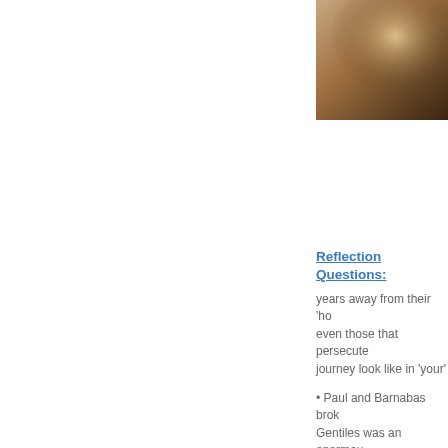[Figure (photo): Partial photo visible in upper right corner, warm brown tones, possibly a person or light source]
Reflection Questions:
years away from their ‘ho even those that persecute journey look like in ‘your’
• Paul and Barnabas brok Gentiles was an enormou would conduct a public fu ‘intrinsically unclean’. Str considered ‘outcasts’, ‘si you? In the Church?
• The Book of Revelation being severely persecute struggles – and see the b in the Eucharist and the W